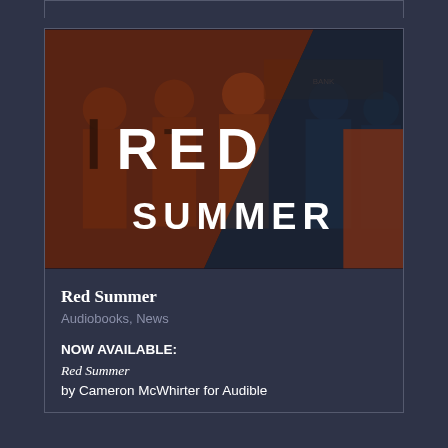[Figure (photo): Book cover for 'Red Summer' showing historical black and white photograph of people in early 20th century clothing, overlaid with red-orange and dark teal color split, with bold white text reading 'RED' and 'SUMMER']
Red Summer
Audiobooks, News
NOW AVAILABLE:
Red Summer
by Cameron McWhirter for Audible